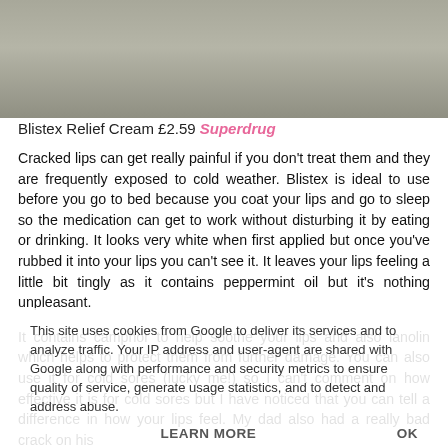[Figure (photo): Partial image of Blistex Relief Cream product, gray/beige background, top portion visible]
Blistex Relief Cream £2.59 Superdrug
Cracked lips can get really painful if you don't treat them and they are frequently exposed to cold weather. Blistex is ideal to use before you go to bed because you coat your lips and go to sleep so the medication can get to work without disturbing it by eating or drinking. It looks very white when first applied but once you've rubbed it into your lips you can't see it. It leaves your lips feeling a little bit tingly as it contains peppermint oil but it's nothing unpleasant.
It contains camphor to help soothe your lips and also lanolin which helps to protect them from further damage. You can also use it for cold sores (lucky me!) so I can't comment on how effective it is for cold sores but I have noticed that you can tell a difference in how your lips feel. My dad also had a really bad crack on his
This site uses cookies from Google to deliver its services and to analyze traffic. Your IP address and user-agent are shared with Google along with performance and security metrics to ensure quality of service, generate usage statistics, and to detect and address abuse.